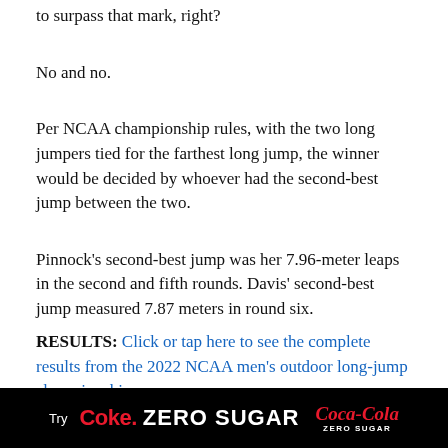to surpass that mark, right?
No and no.
Per NCAA championship rules, with the two long jumpers tied for the farthest long jump, the winner would be decided by whoever had the second-best jump between the two.
Pinnock’s second-best jump was her 7.96-meter leaps in the second and fifth rounds. Davis’ second-best jump measured 7.87 meters in round six.
RESULTS: Click or tap here to see the complete results from the 2022 NCAA men’s outdoor long-jump championship.
[Figure (other): Coca-Cola Coke Zero Sugar advertisement banner with black background, red Coke Zero Sugar text and Coca-Cola logo]